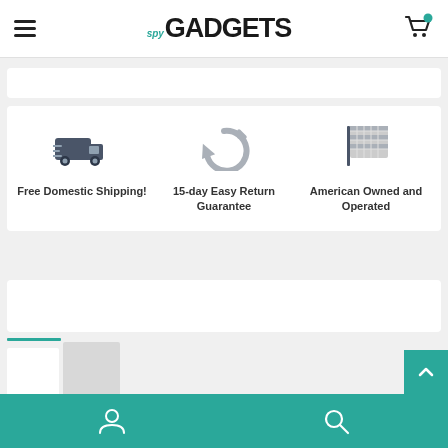spy GADGETS
[Figure (infographic): Three feature icons with labels: delivery truck (Free Domestic Shipping!), refresh/return arrow (15-day Easy Return Guarantee), and American flag (American Owned and Operated)]
Free Domestic Shipping!
15-day Easy Return Guarantee
American Owned and Operated
Bottom navigation bar with user account and search icons